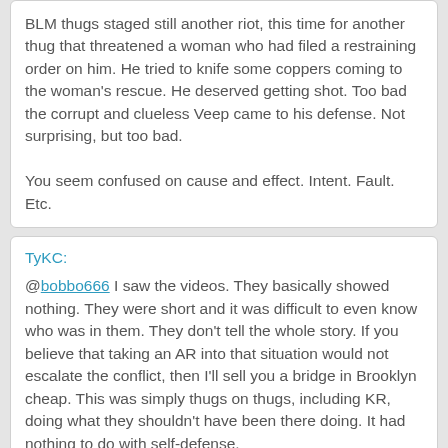BLM thugs staged still another riot, this time for another thug that threatened a woman who had filed a restraining order on him. He tried to knife some coppers coming to the woman's rescue. He deserved getting shot. Too bad the corrupt and clueless Veep came to his defense. Not surprising, but too bad.

You seem confused on cause and effect. Intent. Fault. Etc.
TyKC:

@bobbo666 I saw the videos. They basically showed nothing. They were short and it was difficult to even know who was in them. They don't tell the whole story. If you believe that taking an AR into that situation would not escalate the conflict, then I'll sell you a bridge in Brooklyn cheap. This was simply thugs on thugs, including KR, doing what they shouldn't have been there doing. It had nothing to do with self-defense.